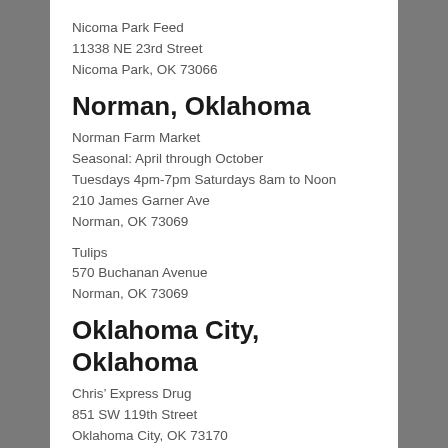Nicoma Park Feed
11338 NE 23rd Street
Nicoma Park, OK 73066
Norman, Oklahoma
Norman Farm Market
Seasonal: April through October
Tuesdays 4pm-7pm Saturdays 8am to Noon
210 James Garner Ave
Norman, OK 73069
Tulips
570 Buchanan Avenue
Norman, OK 73069
Oklahoma City, Oklahoma
Chris’ Express Drug
851 SW 119th Street
Oklahoma City, OK 73170